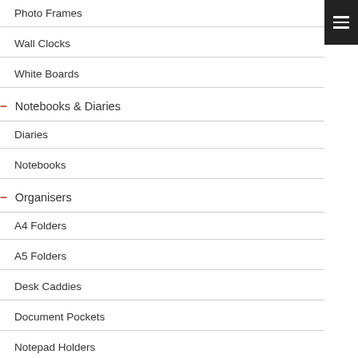Photo Frames
Wall Clocks
White Boards
– Notebooks & Diaries
Diaries
Notebooks
– Organisers
A4 Folders
A5 Folders
Desk Caddies
Document Pockets
Notepad Holders
Pencil Cases
– Stationery
Bookmarks
Calculators
Letter Openers
Paper & Memo Clips